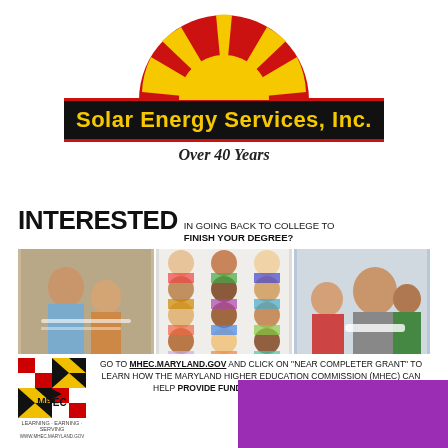[Figure (logo): Solar Energy Services Inc. logo with sunburst (red and yellow semicircle) above a black banner with red borders reading 'Solar Energy Services, Inc.' in yellow text, and italic text 'Over 40 Years' below]
[Figure (infographic): MHEC advertisement: 'INTERESTED IN GOING BACK TO COLLEGE TO FINISH YOUR DEGREE?' with three photos of diverse adults studying, and MHEC logo. Text: 'GO TO MHEC.MARYLAND.GOV AND CLICK ON NEAR COMPLETER GRANT TO LEARN HOW THE MARYLAND HIGHER EDUCATION COMMISSION (MHEC) CAN HELP PROVIDE FUNDING TO FINISH YOUR DEGREE!']
[Figure (other): Purple/magenta rectangle at the bottom right of the page, partially visible]